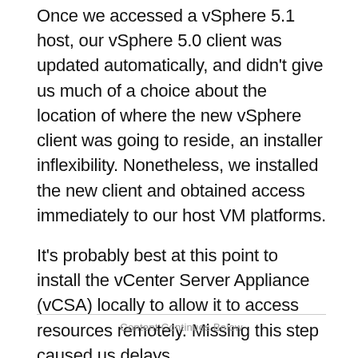Once we accessed a vSphere 5.1 host, our vSphere 5.0 client was updated automatically, and didn't give us much of a choice about the location of where the new vSphere client was going to reside, an installer inflexibility. Nonetheless, we installed the new client and obtained access immediately to our host VM platforms.
It's probably best at this point to install the vCenter Server Appliance (vCSA) locally to allow it to access resources remotely. Missing this step caused us delays.
Content Continues Below